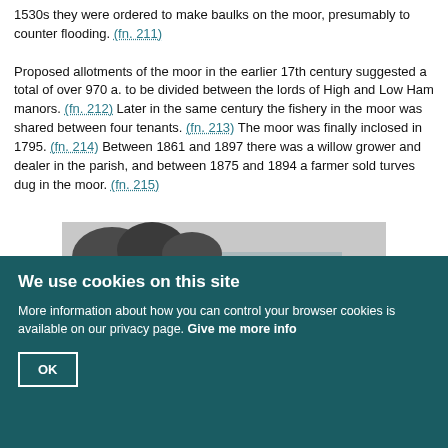1530s they were ordered to make baulks on the moor, presumably to counter flooding. (fn. 211) Proposed allotments of the moor in the earlier 17th century suggested a total of over 970 a. to be divided between the lords of High and Low Ham manors. (fn. 212) Later in the same century the fishery in the moor was shared between four tenants. (fn. 213) The moor was finally inclosed in 1795. (fn. 214) Between 1861 and 1897 there was a willow grower and dealer in the parish, and between 1875 and 1894 a farmer sold turves dug in the moor. (fn. 215)
[Figure (photo): Black and white photograph showing horses and a man in a field near water, with trees in the background.]
We use cookies on this site
More information about how you can control your browser cookies is available on our privacy page. Give me more info
OK